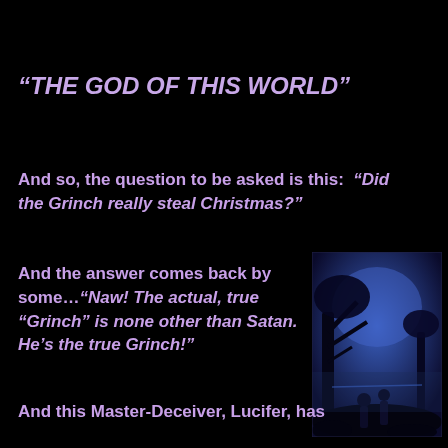“THE GOD OF THIS WORLD”
And so, the question to be asked is this: “Did the Grinch really steal Christmas?”
And the answer comes back by some…“Naw! The actual, true “Grinch” is none other than Satan. He’s the true Grinch!”
[Figure (illustration): A blue-tinted illustration showing dark silhouetted figures under a tree against a blue night sky, appearing biblical or religious in theme.]
And this Master-Deceiver, Lucifer, has